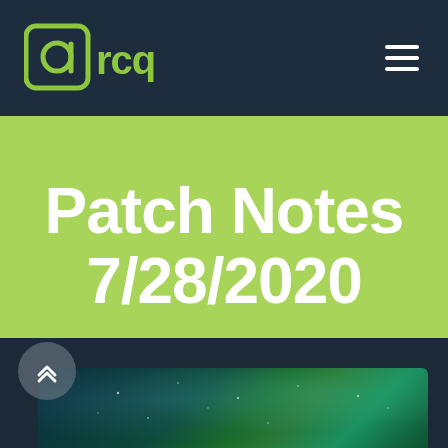[Figure (logo): arcq logo — rounded square icon with letter 'a' inside, followed by 'rcq' in light green on dark navy background]
Patch Notes 7/28/2020
Published by Chris Baldwin on July 31, 2020
[Figure (photo): Dark space/nebula photo with green and teal light effects, partially visible at bottom of page]